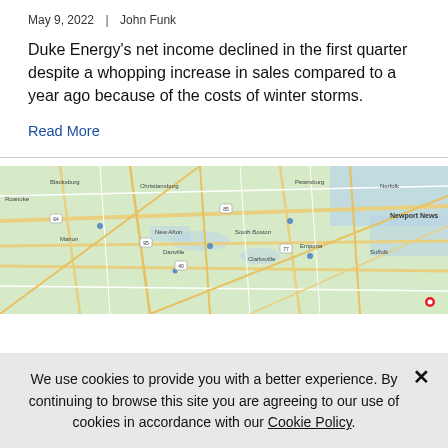May 9, 2022  |  John Funk
Duke Energy's net income declined in the first quarter despite a whopping increase in sales compared to a year ago because of the costs of winter storms.
Read More
[Figure (map): A road map showing a region of the eastern United States, including roads, highways, and a red location marker in the lower right area. The map shows various cities, highways, and geographic features typical of a Google Maps view of Virginia/North Carolina area.]
We use cookies to provide you with a better experience. By continuing to browse this site you are agreeing to our use of cookies in accordance with our Cookie Policy.